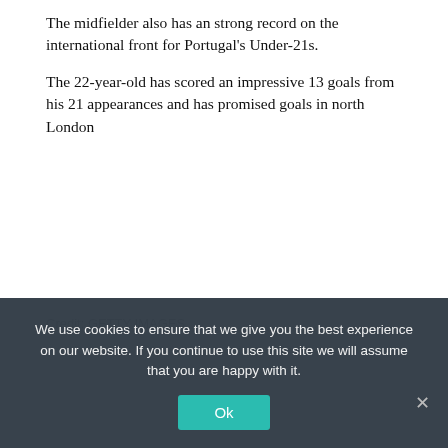The midfielder also has an strong record on the international front for Portugal's Under-21s.
The 22-year-old has scored an impressive 13 goals from his 21 appearances and has promised goals in north London
Credit: GETTY IMAGES
We use cookies to ensure that we give you the best experience on our website. If you continue to use this site we will assume that you are happy with it.
Ok